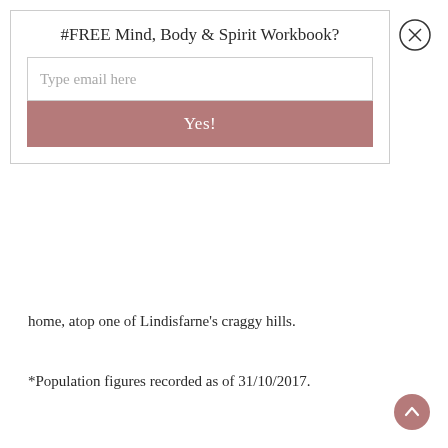#FREE Mind, Body & Spirit Workbook?
[Figure (screenshot): Email signup popup with text input field labeled 'Type email here' and a rose-colored 'Yes!' button, with a close (X) button in the top right]
home, atop one of Lindisfarne's craggy hills.
*Population figures recorded as of 31/10/2017.